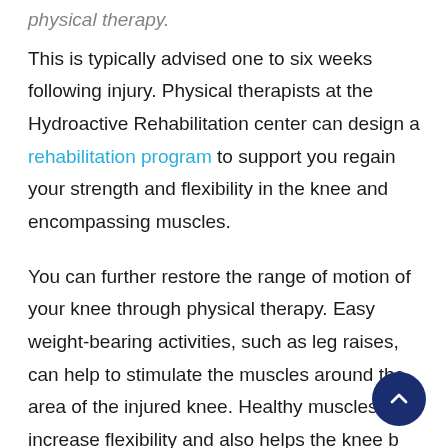physical therapy.
This is typically advised one to six weeks following injury. Physical therapists at the Hydroactive Rehabilitation center can design a rehabilitation program to support you regain your strength and flexibility in the knee and encompassing muscles.
You can further restore the range of motion of your knee through physical therapy. Easy weight-bearing activities, such as leg raises, can help to stimulate the muscles around the area of the injured knee. Healthy muscles increase flexibility and also helps the knee by protecting it from another injury.